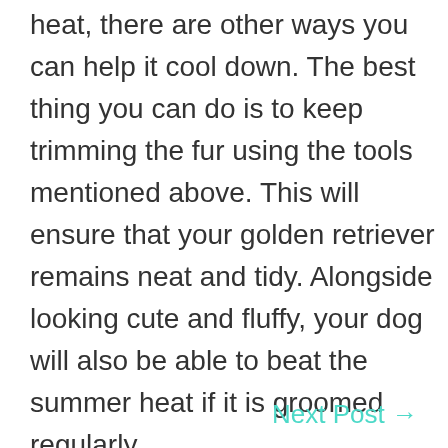heat, there are other ways you can help it cool down. The best thing you can do is to keep trimming the fur using the tools mentioned above. This will ensure that your golden retriever remains neat and tidy. Alongside looking cute and fluffy, your dog will also be able to beat the summer heat if it is groomed regularly.
Next Post →